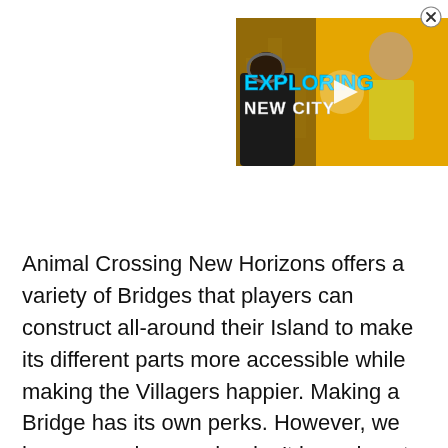[Figure (screenshot): A video thumbnail showing two men in front of a yellow cityscape background. Bold text reads 'EXPLORING NEW CITY' in blue and white letters. A play button triangle is overlaid in the center. A close button (X in circle) appears in the top-right corner.]
Animal Crossing New Horizons offers a variety of Bridges that players can construct all-around their Island to make its different parts more accessible while making the Villagers happier. Making a Bridge has its own perks. However, we have new players who don't know how to